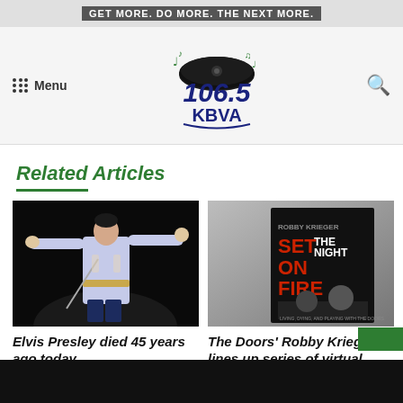106.5 KBVA
Related Articles
[Figure (photo): Elvis Presley performing on stage in white jumpsuit with arms spread wide]
Elvis Presley died 45 years ago today
[Figure (photo): Book cover: 'Set the Night on Fire' by Robby Krieger]
The Doors' Robby Krieger lines up series of virtual events to promote upcoming book, 'Set the Night on Fire'